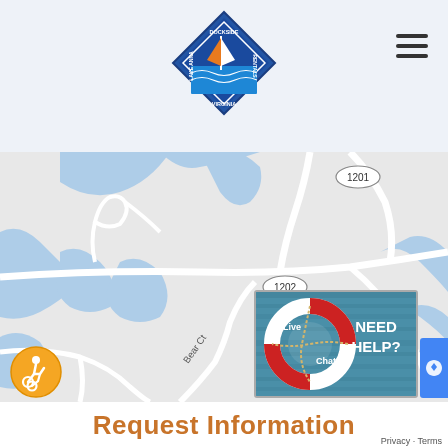[Figure (logo): Dockside Rentals Lake Anna Virginia diamond-shaped logo with sailboat]
[Figure (map): Google Maps screenshot showing Lake Anna Virginia area with roads labeled 1201 and 1202, Bear Ct street label, blue water areas]
[Figure (illustration): Life preserver ring with 'Live Chat' text overlay on teal background with 'NEED HELP?' text]
[Figure (illustration): Accessibility icon - wheelchair user in orange circle]
Request Information